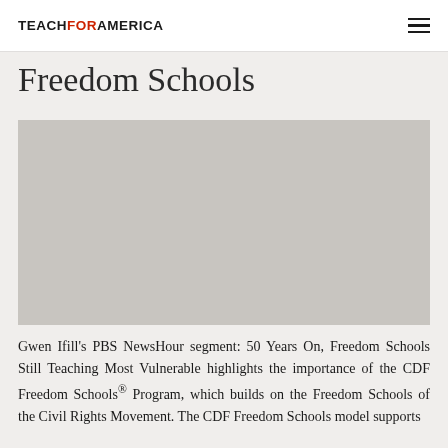TEACH FOR AMERICA
Freedom Schools
[Figure (photo): Large image area showing Freedom Schools related content, appears as a gray/placeholder image block]
Gwen Ifill's PBS NewsHour segment: 50 Years On, Freedom Schools Still Teaching Most Vulnerable highlights the importance of the CDF Freedom Schools® Program, which builds on the Freedom Schools of the Civil Rights Movement. The CDF Freedom Schools model supports